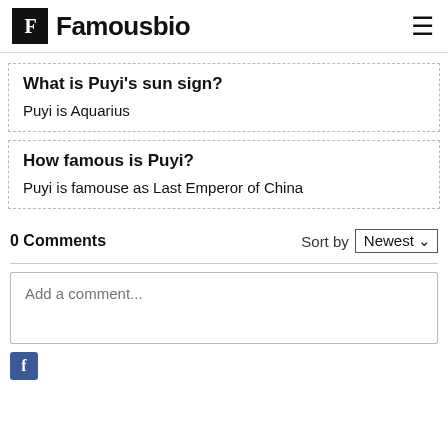Famousbio
What is Puyi's sun sign?
Puyi is Aquarius
How famous is Puyi?
Puyi is famouse as Last Emperor of China
0 Comments
Sort by Newest
Add a comment...